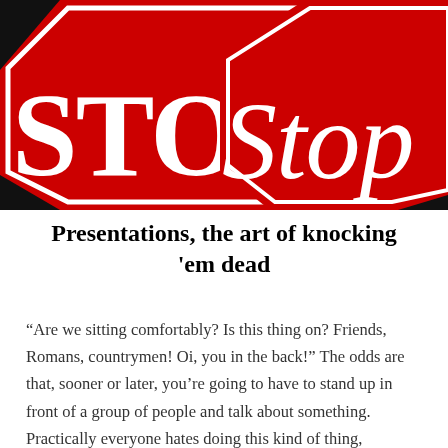[Figure (illustration): Two red octagonal STOP signs side by side against a black background. The left sign shows 'STOP' in large white serif capital letters. The right sign shows 'Stop' in large white italic/script letters. The signs are cropped, filling the top portion of the image.]
Presentations, the art of knocking 'em dead
“Are we sitting comfortably? Is this thing on? Friends, Romans, countrymen! Oi, you in the back!” The odds are that, sooner or later, you’re going to have to stand up in front of a group of people and talk about something. Practically everyone hates doing this kind of thing, especially the first few times. As we’re…